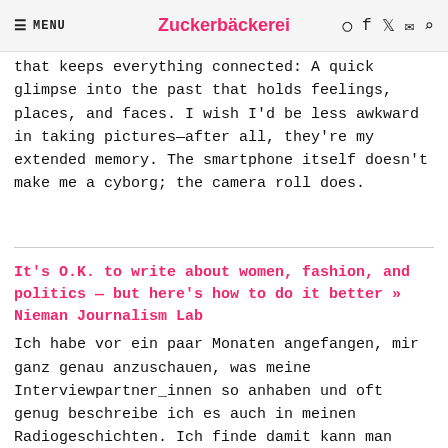≡ MENU  Zuckerbäckerei  [icons]
that keeps everything connected: A quick glimpse into the past that holds feelings, places, and faces. I wish I'd be less awkward in taking pictures—after all, they're my extended memory. The smartphone itself doesn't make me a cyborg; the camera roll does.
It's O.K. to write about women, fashion, and politics — but here's how to do it better » Nieman Journalism Lab
Ich habe vor ein paar Monaten angefangen, mir ganz genau anzuschauen, was meine Interviewpartner_innen so anhaben und oft genug beschreibe ich es auch in meinen Radiogeschichten. Ich finde damit kann man viel vom ersten Eindruck transportieren.
Is it okay, then, for journalists to write about fashion